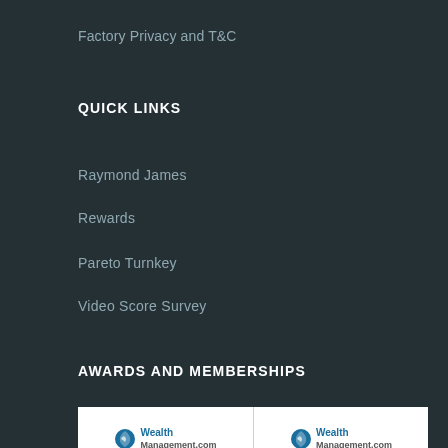Factory Privacy and T&C
QUICK LINKS
Raymond James
Rewards
Pareto Turnkey
Video Score Survey
AWARDS AND MEMBERSHIPS
[Figure (logo): Two WealthManagement.com Industry Awards Finalist badges side by side — one for 2022 and one for 2021, each showing the WealthManagement.com logo with leaf icon, year, 'Industry Awards', and 'Finalist' text.]